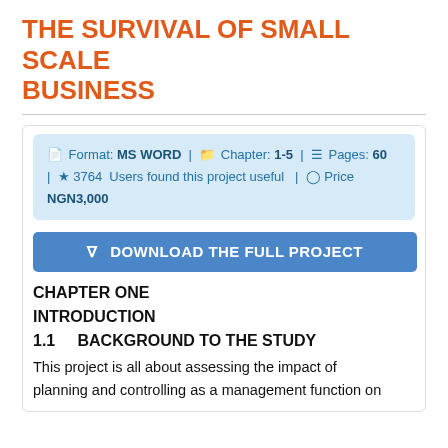THE SURVIVAL OF SMALL SCALE BUSINESS
Format: MS WORD | Chapter: 1-5 | Pages: 60 | 3764 Users found this project useful | Price NGN3,000
DOWNLOAD THE FULL PROJECT
CHAPTER ONE
INTRODUCTION
1.1    BACKGROUND TO THE STUDY
This project is all about assessing the impact of planning and controlling as a management function on